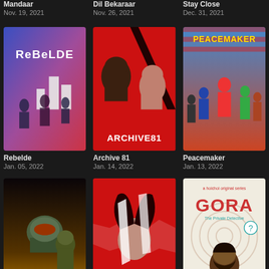Mandaar
Nov. 19, 2021
Dil Bekaraar
Nov. 26, 2021
Stay Close
Dec. 31, 2021
[Figure (photo): Rebelde TV show poster with cast on blue/pink background]
Rebelde
Jan. 05, 2022
[Figure (photo): Archive 81 TV show poster with two faces on red background]
Archive 81
Jan. 14, 2022
[Figure (photo): Peacemaker TV show poster with superhero cast on American flag background]
Peacemaker
Jan. 13, 2022
[Figure (photo): The Book of Boba Fett Star Wars poster with armored characters]
[Figure (photo): Red background show poster with woman's face torn]
[Figure (photo): Gora The Private Detective hoichoi original series poster]